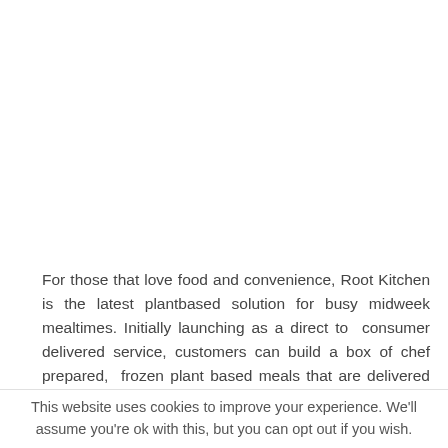For those that love food and convenience, Root Kitchen is the latest plantbased solution for busy midweek mealtimes. Initially launching as a direct to consumer delivered service, customers can build a box of chef prepared, frozen plant based meals that are delivered by carbon neutral courier. There is an initial range of ten plant-based twists on traditional
This website uses cookies to improve your experience. We'll assume you're ok with this, but you can opt out if you wish.